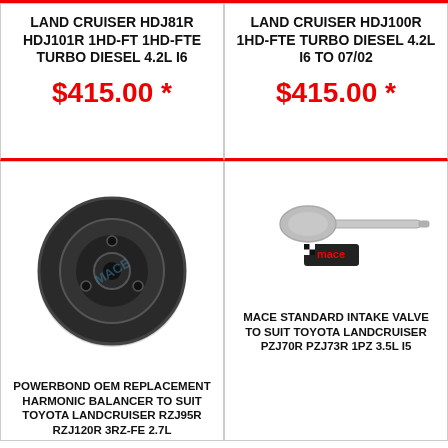LAND CRUISER HDJ81R HDJ101R 1HD-FT 1HD-FTE TURBO DIESEL 4.2L I6
$415.00 *
LAND CRUISER HDJ100R 1HD-FTE TURBO DIESEL 4.2L I6 TO 07/02
$415.00 *
[Figure (photo): Black harmonic balancer / crankshaft pulley for Toyota Landcruiser, circular disc shape with mounting holes]
POWERBOND OEM REPLACEMENT HARMONIC BALANCER TO SUIT TOYOTA LANDCRUISER RZJ95R RZJ120R 3RZ-FE 2.7L
[Figure (photo): Metal intake valve for Toyota Landcruiser, with MACE logo/branding below]
MACE STANDARD INTAKE VALVE TO SUIT TOYOTA LANDCRUISER PZJ70R PZJ73R 1PZ 3.5L I5
Leave a message